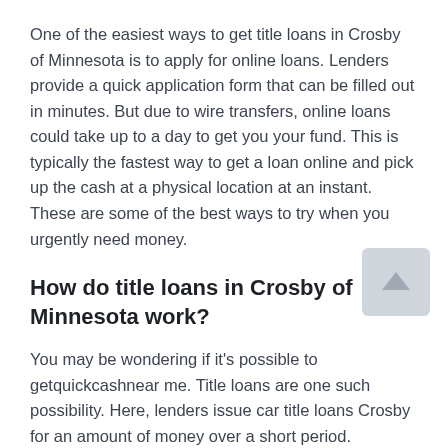One of the easiest ways to get title loans in Crosby of Minnesota is to apply for online loans. Lenders provide a quick application form that can be filled out in minutes. But due to wire transfers, online loans could take up to a day to get you your fund. This is typically the fastest way to get a loan online and pick up the cash at a physical location at an instant. These are some of the best ways to try when you urgently need money.
How do title loans in Crosby of Minnesota work?
You may be wondering if it's possible to getquickcashnear me. Title loans are one such possibility. Here, lenders issue car title loans Crosby for an amount of money over a short period. Borrowers can obtain a title loan by giving their title of the vehicle, such as a car, truck, or motorcycle to the lender as a confirmative. The borrower and the direct lender...